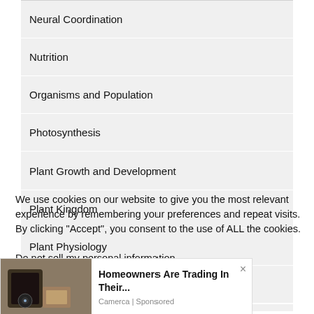Neural Coordination
Nutrition
Organisms and Population
Photosynthesis
Plant Growth and Development
Plant Kingdom
Plant Physiology
Principles and Processes
We use cookies on our website to give you the most relevant experience by remembering your preferences and repeat visits. By clicking “Accept”, you consent to the use of ALL the cookies.
Do not sell my personal information.
[Figure (other): Advertisement overlay: Homeowners Are Trading In Their... from Camerca | Sponsored, with a close button (×)]